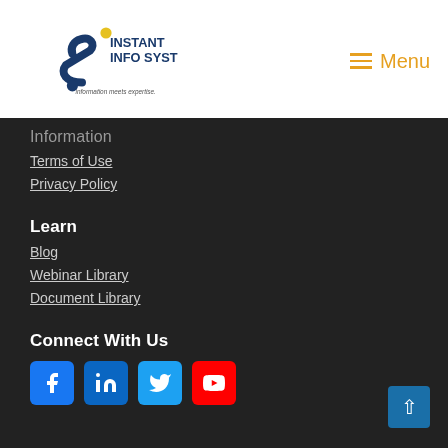[Figure (logo): Instant Info Systems logo with stylized S and tagline 'information meets expertise.']
Menu
Information
Terms of Use
Privacy Policy
Learn
Blog
Webinar Library
Document Library
Connect With Us
[Figure (other): Social media icons: Facebook, LinkedIn, Twitter, YouTube]